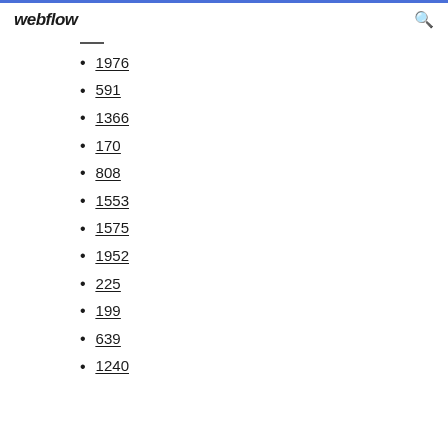webflow
1976
591
1366
170
808
1553
1575
1952
225
199
639
1240